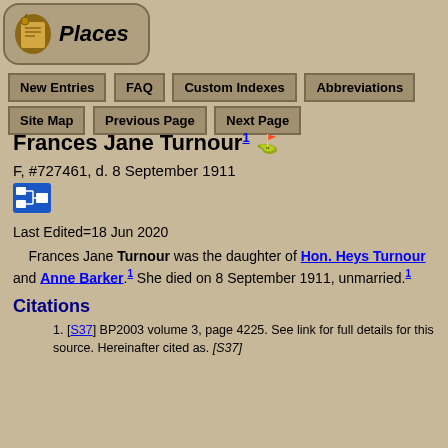[Figure (logo): Places logo with scroll/book icon and italic text 'Places' in a rounded rectangle button]
New Entries | FAQ | Custom Indexes | Abbreviations | Site Map | Previous Page | Next Page
Frances Jane Turnour
F, #727461, d. 8 September 1911
Last Edited=18 Jun 2020
Frances Jane Turnour was the daughter of Hon. Heys Turnour and Anne Barker.[1] She died on 8 September 1911, unmarried.[1]
Citations
[S37] BP2003 volume 3, page 4225. See link for full details for this source. Hereinafter cited as. [S37]